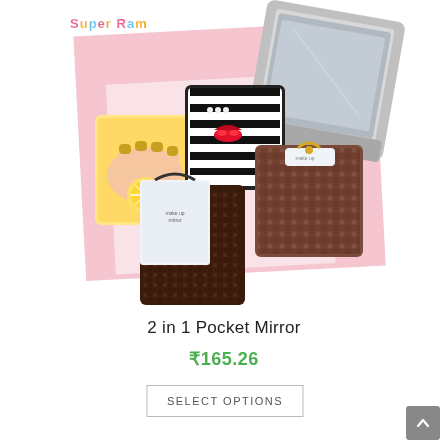[Figure (photo): Product photo of multiple 2-in-1 pocket mirrors with decorative covers (nail art, striped black-and-white, handbag patterns) displayed on a pink background, with 'SUPER RAM' logo in top left corner]
2 in 1 Pocket Mirror
₹165.26
Select options